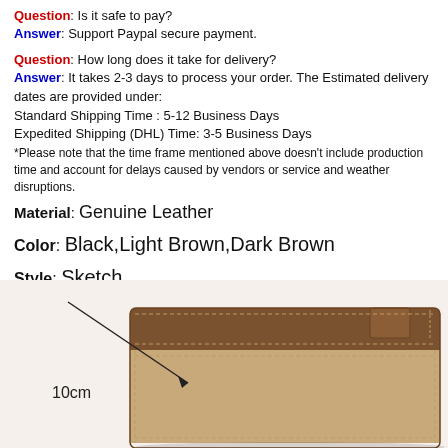Question: Is it safe to pay?
Answer: Support Paypal secure payment.
Question: How long does it take for delivery?
Answer: It takes 2-3 days to process your order. The Estimated delivery dates are provided under:
Standard Shipping Time : 5-12 Business Days
Expedited Shipping (DHL) Time: 3-5 Business Days
*Please note that the time frame mentioned above doesn't include production time and account for delays caused by vendors or service and weather disruptions.
Material: Genuine Leather
Color: Black,Light Brown,Dark Brown
Style: Sketch
[Figure (photo): Photo of a brown genuine leather wallet with a measurement indicator showing 10cm]